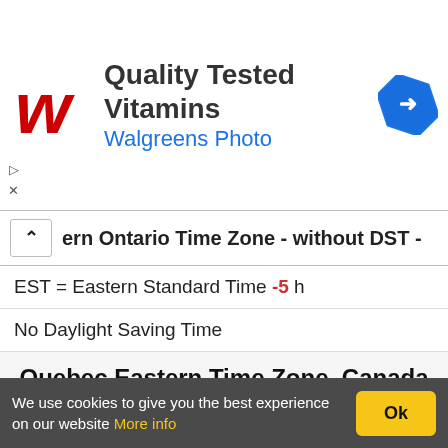[Figure (screenshot): Walgreens ad banner with red W logo, 'Quality Tested Vitamins' heading, 'Walgreens Photo' subtitle in blue, and a blue diamond navigation arrow icon on the right.]
ern Ontario Time Zone - without DST -
EST = Eastern Standard Time -5 h
No Daylight Saving Time
Quebec Eastern Time Zone, Canada
| A - H | I - M |
| --- | --- |
| Alma | Inukjuak |
| Bécancour | Joliette |
| Beloeil | Kuujjuaq |
| Chibougamau | Laval |
| Chicoutimi | Laurentides |
We use cookies to give you the best experience on our website More info